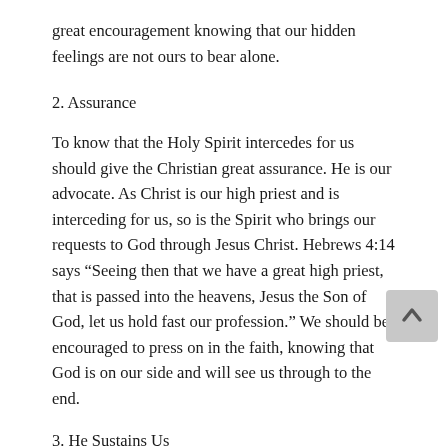great encouragement knowing that our hidden feelings are not ours to bear alone.
2. Assurance
To know that the Holy Spirit intercedes for us should give the Christian great assurance. He is our advocate. As Christ is our high priest and is interceding for us, so is the Spirit who brings our requests to God through Jesus Christ. Hebrews 4:14 says “Seeing then that we have a great high priest, that is passed into the heavens, Jesus the Son of God, let us hold fast our profession.” We should be encouraged to press on in the faith, knowing that God is on our side and will see us through to the end.
3. He Sustains Us